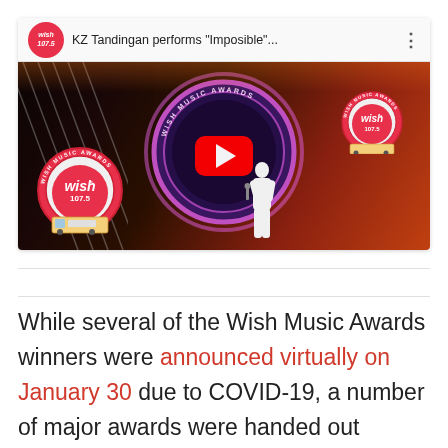[Figure (screenshot): YouTube video thumbnail showing KZ Tandingan performing 'Imposible' at the Wish Music Awards. The video has a stage with circular arch lighting in purple, the Wish 107.5 logo badges, a performer on stage, and a large red YouTube play button overlay. The video header shows the Wish 107.5 logo and title 'KZ Tandingan performs "Imposible"...']
While several of the Wish Music Awards winners were announced virtually on January 30 due to COVID-19, a number of major awards were handed out during the February 6 livestream. Find the full